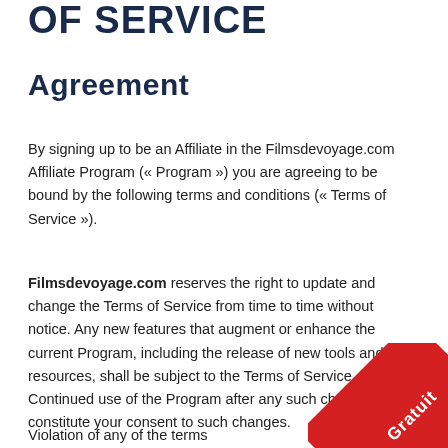OF SERVICE
Agreement
By signing up to be an Affiliate in the Filmsdevoyage.com Affiliate Program (« Program ») you are agreeing to be bound by the following terms and conditions (« Terms of Service »).
Filmsdevoyage.com reserves the right to update and change the Terms of Service from time to time without notice. Any new features that augment or enhance the current Program, including the release of new tools and resources, shall be subject to the Terms of Service. Continued use of the Program after any such changes shall constitute your consent to such changes.
Violation of any of the terms below will result in